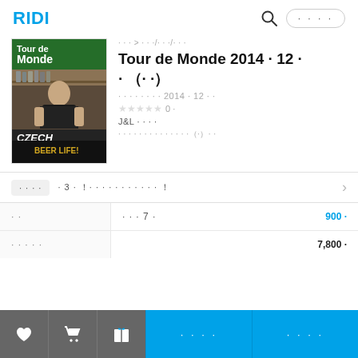RIDI
[Figure (photo): Tour de Monde magazine cover showing a man in a black t-shirt in a bar/restaurant setting, with text 'Tour de Monde', 'CZECH', 'BEER LIFE!']
· · · > · · ·/· · ·/· · ·
Tour de Monde 2014 · 12 · · ( · · )
· · · · · · · · 2014 · 12 · ·
☆☆☆☆☆ 0 ·
J&L · · · ·
· · · · · · · · · · · · · · ( · ) · ·
· · · ·  · 3 · !  · · · · · · · · · · · !
|  |  |  |
| --- | --- | --- |
| · · | · · · 7 · | 900 · |
| · · · · · |  | 7,800 · |
· · · ·    · · · ·